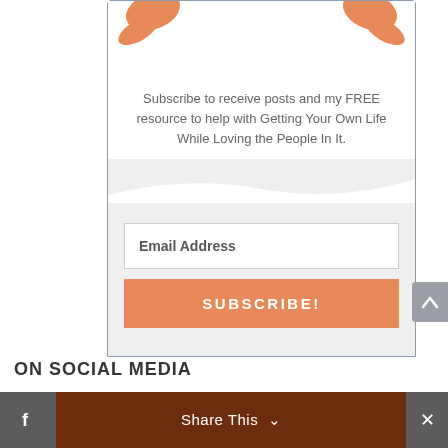[Figure (illustration): Partial view of a decorative illustration with orange/peach colored elements at the top of a subscription widget card]
Subscribe to receive posts and my FREE resource to help with Getting Your Own Life While Loving the People In It.
[Figure (illustration): Email address input field and orange SUBSCRIBE! button inside a gray-background card section]
[Figure (illustration): Gray back-to-top arrow button on the right side]
ON SOCIAL MEDIA
Share This